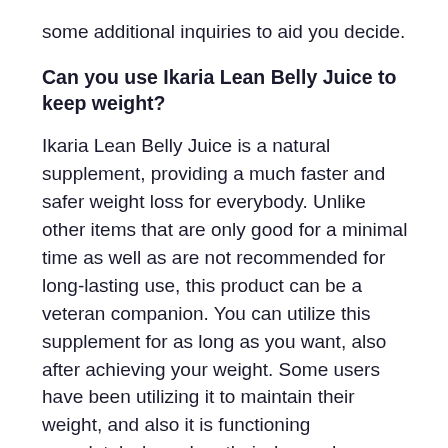some additional inquiries to aid you decide.
Can you use Ikaria Lean Belly Juice to keep weight?
Ikaria Lean Belly Juice is a natural supplement, providing a much faster and safer weight loss for everybody. Unlike other items that are only good for a minimal time as well as are not recommended for long-lasting use, this product can be a veteran companion. You can utilize this supplement for as long as you want, also after achieving your weight. Some users have been utilizing it to maintain their weight, and also it is functioning completely, based on their demands as well as expectations.